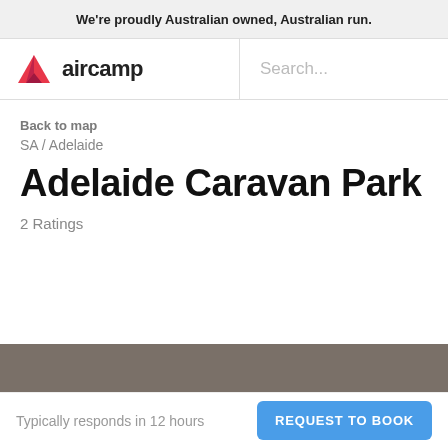We're proudly Australian owned, Australian run.
[Figure (logo): Aircamp logo with pink triangle mountain icon and 'aircamp' wordmark]
Search...
Back to map
SA / Adelaide
Adelaide Caravan Park
2 Ratings
Typically responds in 12 hours
REQUEST TO BOOK